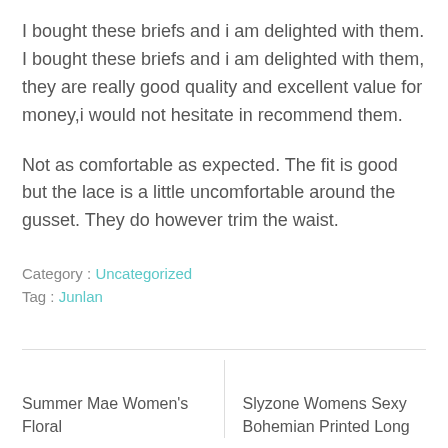I bought these briefs and i am delighted with them. I bought these briefs and i am delighted with them, they are really good quality and excellent value for money,i would not hesitate in recommend them.
Not as comfortable as expected. The fit is good but the lace is a little uncomfortable around the gusset. They do however trim the waist.
Category : Uncategorized
Tag : Junlan
Summer Mae Women's Floral
Slyzone Womens Sexy Bohemian Printed Long